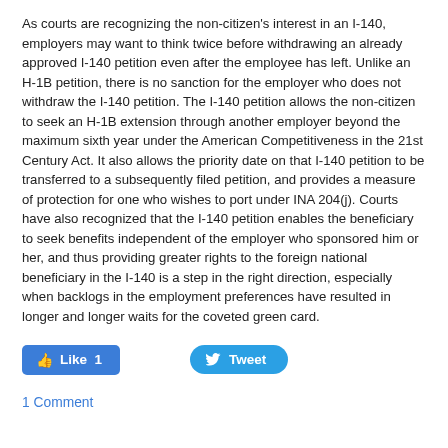As courts are recognizing the non-citizen's interest in an I-140, employers may want to think twice before withdrawing an already approved I-140 petition even after the employee has left. Unlike an H-1B petition, there is no sanction for the employer who does not withdraw the I-140 petition. The I-140 petition allows the non-citizen to seek an H-1B extension through another employer beyond the maximum sixth year under the American Competitiveness in the 21st Century Act. It also allows the priority date on that I-140 petition to be transferred to a subsequently filed petition, and provides a measure of protection for one who wishes to port under INA 204(j). Courts have also recognized that the I-140 petition enables the beneficiary to seek benefits independent of the employer who sponsored him or her, and thus providing greater rights to the foreign national beneficiary in the I-140 is a step in the right direction, especially when backlogs in the employment preferences have resulted in longer and longer waits for the coveted green card.
[Figure (other): Social sharing buttons: blue 'Like 1' button and blue rounded 'Tweet' button]
1 Comment